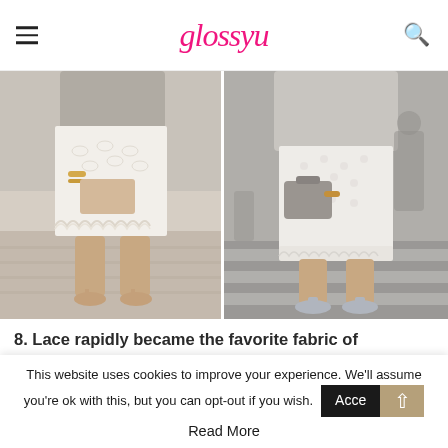glossyu
[Figure (photo): Two side-by-side fashion photos of women wearing white lace pencil skirts. Left image: woman with nude clutch and nude heeled sandals on a wooden deck. Right image: woman with gray bag and silver pumps on a city street.]
8. Lace rapidly became the favorite fabric of
This website uses cookies to improve your experience. We'll assume you're ok with this, but you can opt-out if you wish.
Accept
Read More